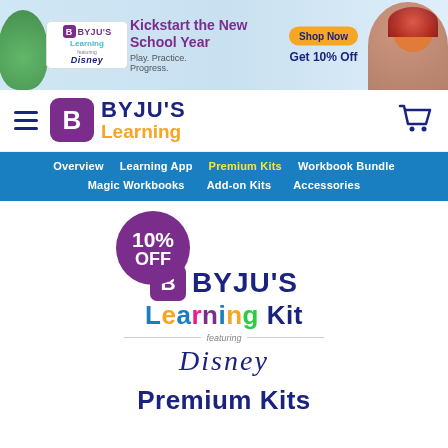[Figure (screenshot): BYJU's Learning banner ad with Disney characters. Text: Kickstart the New School Year, Play. Practice. Progress. Shop Now button and Get 10% Off.]
BYJU'S Learning
Overview
Learning App
Premium Kits
Workbook Bundle
Magic Workbooks
Add-on Kits
Accessories
[Figure (logo): 10% OFF badge circle in purple, followed by BYJU'S Learning Kit featuring Disney logo]
Premium Kits